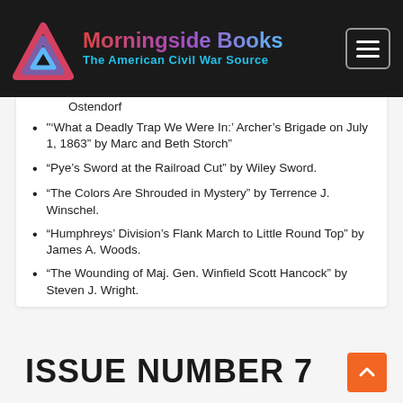Morningside Books — The American Civil War Source
Ostendorf
“‘What a Deadly Trap We Were In:’ Archer’s Brigade on July 1, 1863” by Marc and Beth Storch”
“Pye’s Sword at the Railroad Cut” by Wiley Sword.
“The Colors Are Shrouded in Mystery” by Terrence J. Winschel.
“Humphreys’ Division’s Flank March to Little Round Top” by James A. Woods.
“The Wounding of Maj. Gen. Winfield Scott Hancock” by Steven J. Wright.
ISSUE NUMBER 7